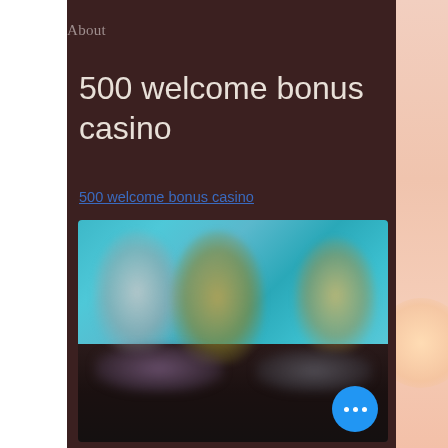About
500 welcome bonus casino
500 welcome bonus casino
[Figure (screenshot): Blurred casino game screenshot showing figures in a teal/cyan background with dark bottom shelf area, and a blue circular button with three dots in the lower right corner]